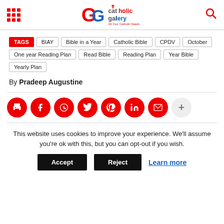Catholic Gallery - All Your Catholic Needs
TAGS: BIAY, Bible in a Year, Catholic Bible, CPDV, October, One year Reading Plan, Read Bible, Reading Plan, Year Bible, Yearly Plan
By Pradeep Augustine
[Figure (infographic): Social sharing buttons: print, facebook, whatsapp, twitter, pinterest, linkedin, email, more]
This website uses cookies to improve your experience. We'll assume you're ok with this, but you can opt-out if you wish. Accept | Reject | Learn more